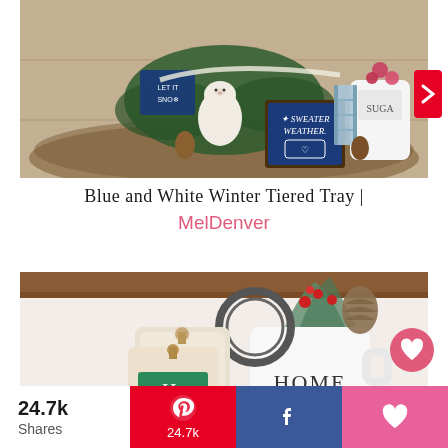[Figure (photo): A decorative winter tiered tray with a white ceramic polar bear figurine, a blue sign reading 'Sweater Weather' with a mug illustration, pine/greenery, and a white 'SUGAR' jar with a small decorative ladder, arranged in a round wooden tray on a wood-look surface.]
Blue and White Winter Tiered Tray | MelDenver
[Figure (photo): A close-up of a winter/holiday home decor vignette featuring a white Rae Dunn-style mug labeled 'HOME' filled with frosted pine sprigs and red berries, a layered decorative tag with a green label reading 'Ho', and a metal ring ornament, displayed on a wood shelf.]
24.7k Shares  24.7k